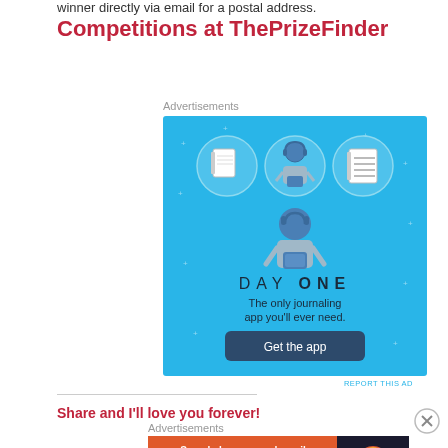winner directly via email for a postal address.
Competitions at ThePrizeFinder
Advertisements
[Figure (illustration): Day One journaling app advertisement on blue background. Shows three circular icons (notebook, person with phone, checklist), large figure of person, text 'DAY ONE', tagline 'The only journaling app you'll ever need.', and 'Get the app' dark button.]
REPORT THIS AD
Share and I'll love you forever!
Advertisements
[Figure (illustration): DuckDuckGo advertisement. Left side orange background with text 'Search, browse, and email with more privacy. All in One Free App'. Right side dark background with DuckDuckGo duck logo.]
REPORT THIS AD